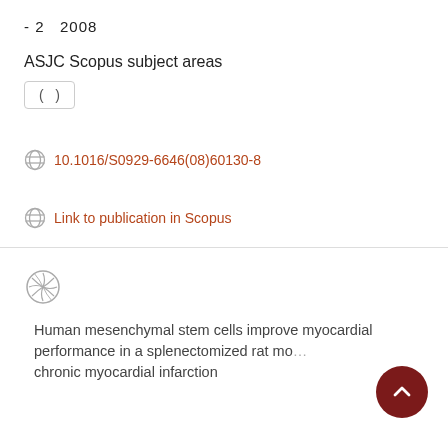- 2   2008
ASJC Scopus subject areas
( )
10.1016/S0929-6646(08)60130-8
Link to publication in Scopus
Human mesenchymal stem cells improve myocardial performance in a splenectomized rat model of chronic myocardial infarction